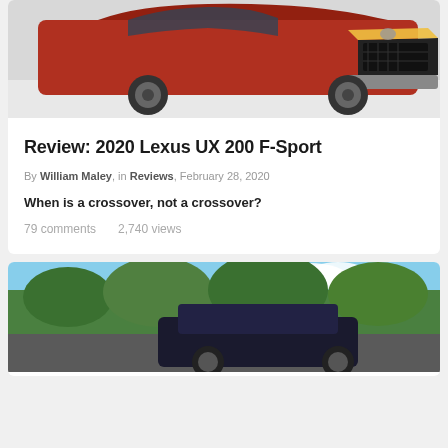[Figure (photo): Red Lexus UX 200 F-Sport SUV crossover photographed from front-quarter angle in snowy/white setting]
Review: 2020 Lexus UX 200 F-Sport
By William Maley, in Reviews, February 28, 2020
When is a crossover, not a crossover?
79 comments   2,740 views
[Figure (photo): Dark colored Lexus vehicle photographed outdoors with green trees and blue sky in background]